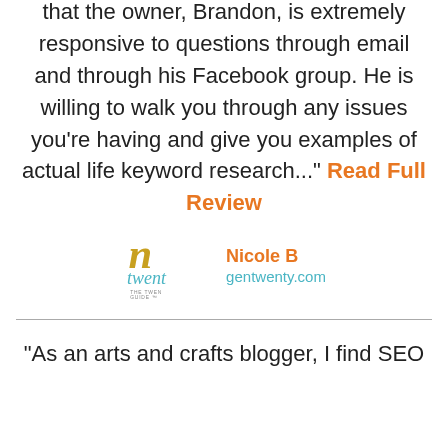that the owner, Brandon, is extremely responsive to questions through email and through his Facebook group. He is willing to walk you through any issues you're having and give you examples of actual life keyword research..." Read Full Review
[Figure (logo): Gentwenty logo - stylized 'n' with 'twent' cursive text below, orange and teal colors]
Nicole B
gentwenty.com
"As an arts and crafts blogger, I find SEO